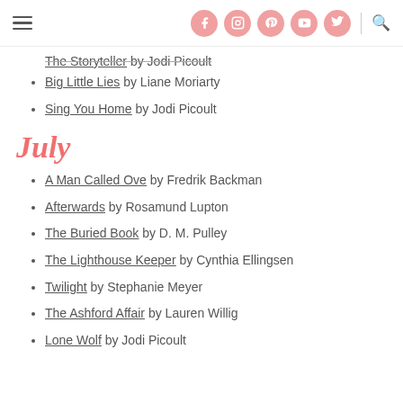Navigation header with social icons (Facebook, Instagram, Pinterest, YouTube, Twitter) and search
The Storyteller by Jodi Picoult
Big Little Lies by Liane Moriarty
Sing You Home by Jodi Picoult
July
A Man Called Ove by Fredrik Backman
Afterwards by Rosamund Lupton
The Buried Book by D. M. Pulley
The Lighthouse Keeper by Cynthia Ellingsen
Twilight by Stephanie Meyer
The Ashford Affair by Lauren Willig
Lone Wolf by Jodi Picoult